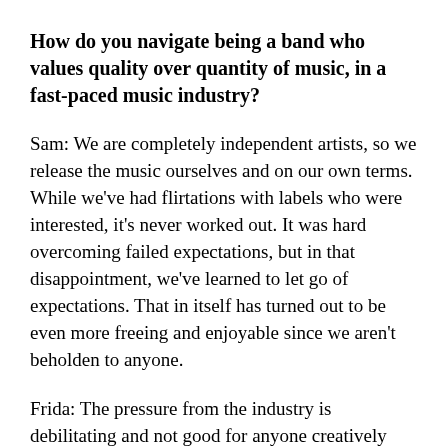How do you navigate being a band who values quality over quantity of music, in a fast-paced music industry?
Sam: We are completely independent artists, so we release the music ourselves and on our own terms. While we've had flirtations with labels who were interested, it's never worked out. It was hard overcoming failed expectations, but in that disappointment, we've learned to let go of expectations. That in itself has turned out to be even more freeing and enjoyable since we aren't beholden to anyone.
Frida: The pressure from the industry is debilitating and not good for anyone creatively